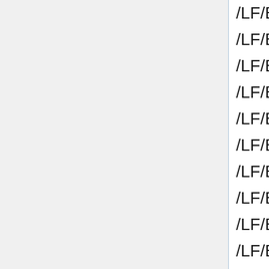/LF/Base/DidjAvatars/Avatar1/audio/Confus...
/LF/Base/DidjAvatars/Avatar1/audio/Idle.ogg
/LF/Base/DidjAvatars/Avatar1/AstroGuyHelm...
/LF/Base/DidjAvatars/Avatar1/AstroGuyHelm...
/LF/Base/DidjAvatars/Avatar1/AstroGuyHelm...
/LF/Base/DidjAvatars/Avatar1/AstroGuyHelm...
/LF/Base/DidjAvatars/Avatar1/AstroGuyHelm...
/LF/Base/DidjAvatars/Avatar1/AstroGuyHelm...
/LF/Base/DidjAvatars/Avatar1/AstroGuyHelm...
/LF/Base/DidjAvatars/Avatar1/AstroGuyHelm...
/LF/Base/L3B_Art_en
/LF/Base/L3B_Art_en/meta.inf
/LF/Base/L3B_Art_en/packagefiles.md5
/LF/Base/TrailerPlayerApp
/LF/Base/TrailerPlayerApp/Art
/LF/Base/TrailerPlayerApp/Art/TD_Class.p...